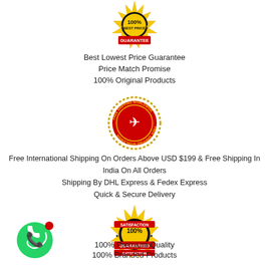[Figure (logo): 100% Best Price Guarantee badge — gold star burst with red ribbon]
Best Lowest Price Guarantee
Price Match Promise
100% Original Products
[Figure (logo): Free Shipping Worldwide badge — red circle with airplane icon and dotted border]
Free International Shipping On Orders Above USD $199 & Free Shipping In India On All Orders
Shipping By DHL Express & Fedex Express
Quick & Secure Delivery
[Figure (logo): 100% Satisfaction Guaranteed badge — gold star burst with red ribbon and black center]
[Figure (logo): WhatsApp green circle chat icon with red notification dot]
100% Premium Quality
100% Branded Products